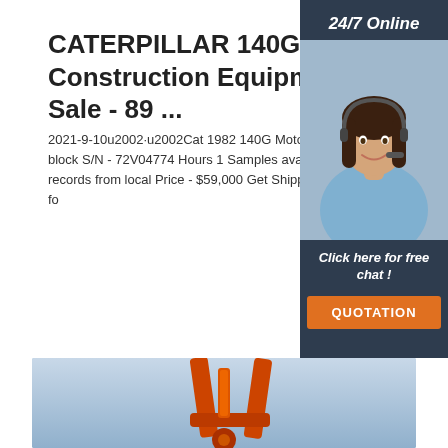CATERPILLAR 140G Construction Equipment For Sale - 89 ...
2021-9-10u2002·u2002Cat 1982 140G Motor w/rippers, push block S/N - 72V04774 Hours 1 Samples available, service records from local Price - $59,000 Get Shipping Quotes Apply fo
[Figure (photo): Orange construction equipment arm/boom against a blue sky background]
[Figure (photo): Customer service representative woman with headset, sidebar panel with 24/7 Online text, Click here for free chat!, and QUOTATION button]